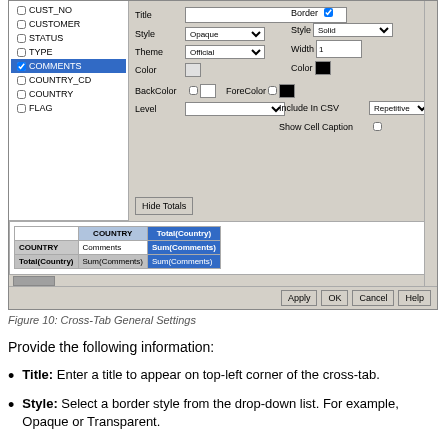[Figure (screenshot): Cross-Tab General Settings dialog screenshot showing field list on left (CUST_NO, CUSTOMER, STATUS, TYPE, COMMENTS selected/highlighted in blue, COUNTRY_CD, COUNTRY, FLAG), and settings panel on right with Title, Style (Opaque), Theme (Official), Color, BackColor, ForeColor, Level fields, Border section with Style (Solid), Width (1), Color (black), Include In CSV (Repetitive), Show Cell Caption checkbox, and Hide Totals button. Below shows a preview table with COUNTRY and Total(Country) columns, and buttons Apply, OK, Cancel, Help.]
Figure 10: Cross-Tab General Settings
Provide the following information:
Title: Enter a title to appear on top-left corner of the cross-tab.
Style: Select a border style from the drop-down list. For example, Opaque or Transparent.